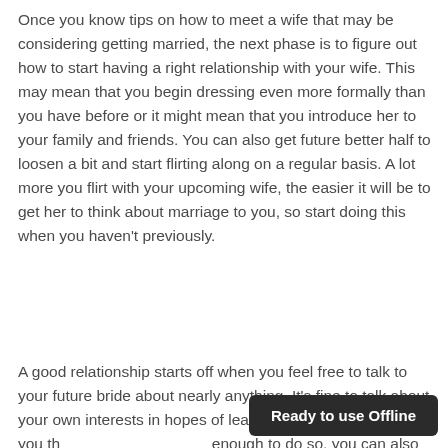Once you know tips on how to meet a wife that may be considering getting married, the next phase is to figure out how to start having a right relationship with your wife. This may mean that you begin dressing even more formally than you have before or it might mean that you introduce her to your family and friends. You can also get future better half to loosen a bit and start flirting along on a regular basis. A lot more you flirt with your upcoming wife, the easier it will be to get her to think about marriage to you, so start doing this when you haven't previously.
A good relationship starts off when you feel free to talk to your future bride about nearly anything. It's fine to talk about your own interests in hopes of learning more about her. If you th enough to do so, you can also ask schedules. Once you've started out dating your
Ready to use Offline